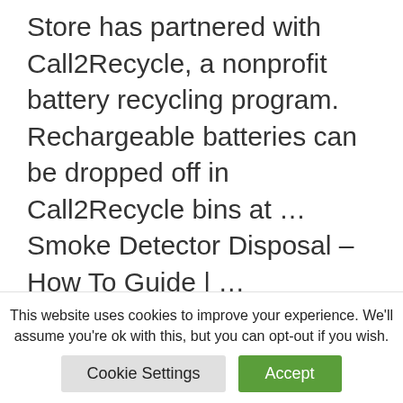Store has partnered with Call2Recycle, a nonprofit battery recycling program. Rechargeable batteries can be dropped off in Call2Recycle bins at … Smoke Detector Disposal – How To Guide | …
Read more
should smoke detector blink red or green
If you are looking for should smoke detector blink red or green , simply
This website uses cookies to improve your experience. We'll assume you're ok with this, but you can opt-out if you wish.